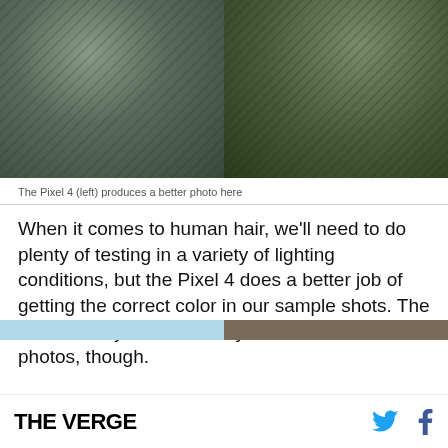[Figure (photo): Two side-by-side phone camera comparison photos of a man wearing a plaid flannel shirt. Left photo from Pixel 4, right photo from another device. The photos show the upper torso and beard of a person.]
The Pixel 4 (left) produces a better photo here
When it comes to human hair, we'll need to do plenty of testing in a variety of lighting conditions, but the Pixel 4 does a better job of getting the correct color in our sample shots. The detail is very similar once you zoom in on both photos, though.
[Figure (photo): Partial view of another comparison photo strip at the bottom of the page — light blue on the left side and tan/olive on the right side.]
THE VERGE